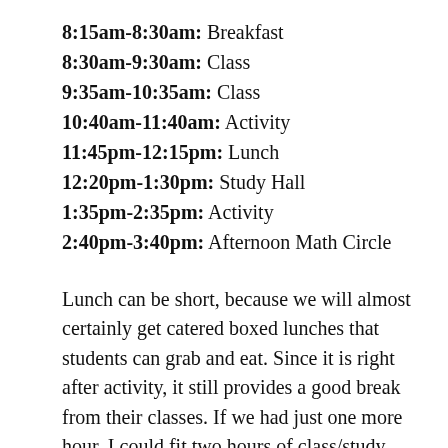8:15am-8:30am: Breakfast
8:30am-9:30am: Class
9:35am-10:35am: Class
10:40am-11:40am: Activity
11:45pm-12:15pm: Lunch
12:20pm-1:30pm: Study Hall
1:35pm-2:35pm: Activity
2:40pm-3:40pm: Afternoon Math Circle
Lunch can be short, because we will almost certainly get catered boxed lunches that students can grab and eat. Since it is right after activity, it still provides a good break from their classes. If we had just one more hour, I could fit two hours of class/study hall/whatever between lunch and activity, but with avoiding